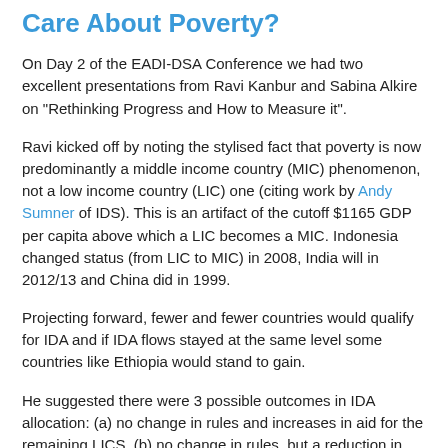Care About Poverty?
On Day 2 of the EADI-DSA Conference we had two excellent presentations from Ravi Kanbur and Sabina Alkire on "Rethinking Progress and How to Measure it".
Ravi kicked off by noting the stylised fact that poverty is now predominantly a middle income country (MIC) phenomenon, not a low income country (LIC) one (citing work by Andy Sumner of IDS). This is an artifact of the cutoff $1165 GDP per capita above which a LIC becomes a MIC. Indonesia changed status (from LIC to MIC) in 2008, India will in 2012/13 and China did in 1999.
Projecting forward, fewer and fewer countries would qualify for IDA and if IDA flows stayed at the same level some countries like Ethiopia would stand to gain.
He suggested there were 3 possible outcomes in IDA allocation: (a) no change in rules and increases in aid for the remaining LICS, (b) no change in rules, but a reduction in